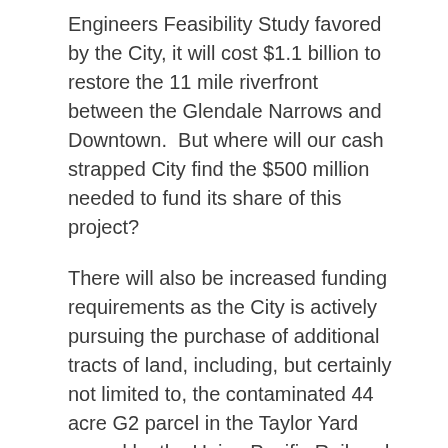Engineers Feasibility Study favored by the City, it will cost $1.1 billion to restore the 11 mile riverfront between the Glendale Narrows and Downtown.  But where will our cash strapped City find the $500 million needed to fund its share of this project?
There will also be increased funding requirements as the City is actively pursuing the purchase of additional tracts of land, including, but certainly not limited to, the contaminated 44 acre G2 parcel in the Taylor Yard owned by the Union Pacific Railroad. The all in cost, including remediation but not the subsequent development costs, is estimated to be in the range of $50 million.
Interestingly, the City is discussing financing this acquisition and cleanup with the proceeds of a bond offering authorized by Proposition O, the